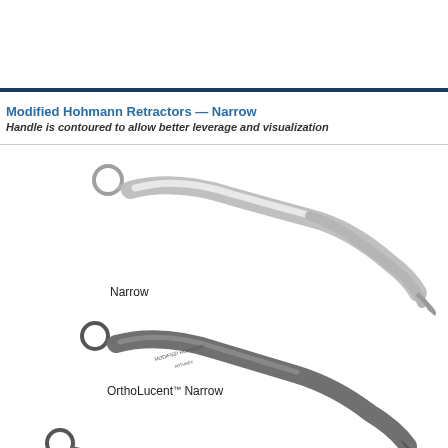Modified Hohmann Retractors — Narrow
Handle is contoured to allow better leverage and visualization
[Figure (photo): Three Modified Hohmann Retractors in Narrow configuration shown stacked diagonally. Top instrument labeled 'Narrow' is a standard silver/chrome finish. Middle instrument labeled 'OrthoLucent™ Narrow' has a darker, radiolucent coating with branding text visible. Bottom instrument partially visible also in OrthoLucent finish. All have a loop handle at the upper left, contoured handle body, and pointed tip at lower right.]
Narrow
OrthoLucent™ Narrow